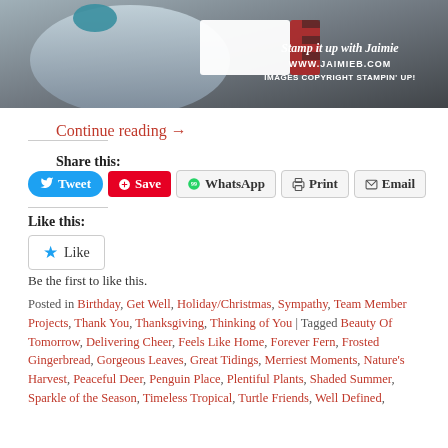[Figure (photo): A hand holding a rubber stamp with text overlay: 'Stamp it up with Jaimie / WWW.JAIMIEB.COM / IMAGES COPYRIGHT STAMPIN' UP!']
Continue reading →
Share this:
Tweet  Save  WhatsApp  Print  Email
Like this:
Like
Be the first to like this.
Posted in Birthday, Get Well, Holiday/Christmas, Sympathy, Team Member Projects, Thank You, Thanksgiving, Thinking of You | Tagged Beauty Of Tomorrow, Delivering Cheer, Feels Like Home, Forever Fern, Frosted Gingerbread, Gorgeous Leaves, Great Tidings, Merriest Moments, Nature's Harvest, Peaceful Deer, Penguin Place, Plentiful Plants, Shaded Summer, Sparkle of the Season, Timeless Tropical, Turtle Friends, Well Defined,